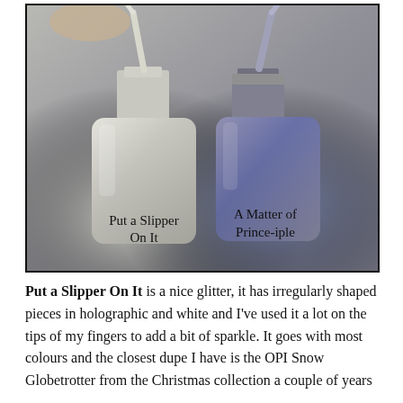[Figure (photo): Two nail polish bottles with brushes out. Left bottle is white/clear glitter labeled 'Put a Slipper On It', right bottle is silver/purple metallic labeled 'A Matter of Prince-iple'. Both brushes are shown out of the bottles.]
Put a Slipper On It is a nice glitter, it has irregularly shaped pieces in holographic and white and I've used it a lot on the tips of my fingers to add a bit of sparkle. It goes with most colours and the closest dupe I have is the OPI Snow Globetrotter from the Christmas collection a couple of years